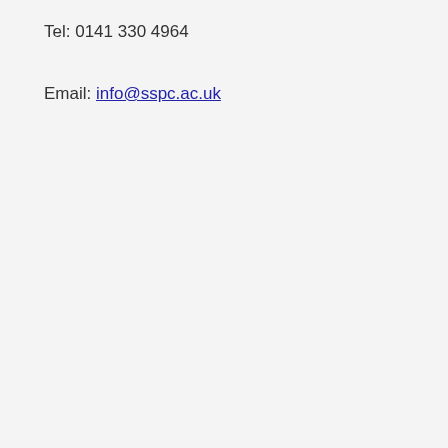Tel: 0141 330 4964
Email: info@sspc.ac.uk